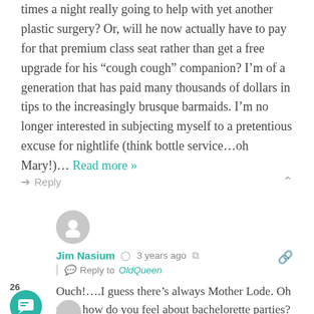times a night really going to help with yet another plastic surgery? Or, will he now actually have to pay for that premium class seat rather than get a free upgrade for his “cough cough” companion? I’m of a generation that has paid many thousands of dollars in tips to the increasingly brusque barmaids. I’m no longer interested in subjecting myself to a pretentious excuse for nightlife (think bottle service…oh Mary!)… Read more »
➜ Reply
[Figure (illustration): User avatar placeholder circle icon for Jim Nasium]
Jim Nasium  3 years ago  Reply to OldQueen
Ouch!….I guess there’s always Mother Lode. Oh wait, how do you feel about bachelorette parties?
➜ Reply